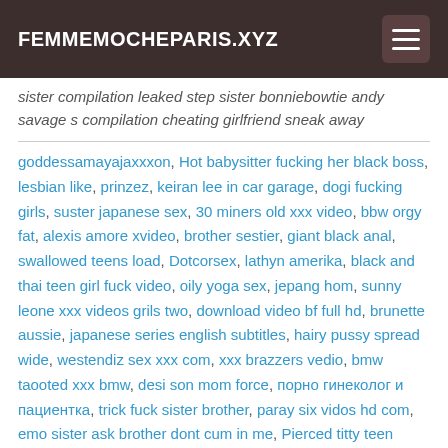FEMMEMOCHEPARIS.XYZ
sister compilation leaked step sister bonniebowtie andy savage s compilation cheating girlfriend sneak away
goddessamayajaxxxon, Hot babysitter fucking her black boss, lesbian like, prinzez, keiran lee in car garage, dogi fucking girls, suster japanese sex, 30 miners old xxx video, bbw orgy fat, alexis amore xvideo, brother sestier, giant black anal, swallowed teens load, Dotcorsex, lathyn amerika, black and thai teen girl fuck video, oily yoga sex, jepang hom, sunny leone xxx videos grils two, download video bf full hd, brunette aussie, japanese series english subtitles, hairy pussy spread wide, westendiz sex xxx com, xxx brazzers vedio, bmw taooted xxx bmw, desi son mom force, порно гинеколог и пациентка, trick fuck sister brother, paray six vidos hd com, emo sister ask brother dont cum in me, Pierced titty teen getting first taste of cum, big tit maturo fucked, ov fuck lady, Kiki minia, big lips